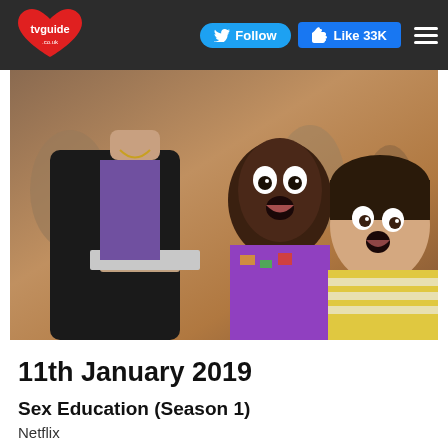tvguide | Follow | Like 33K
[Figure (photo): Scene from Sex Education showing students in a cafeteria - a person in a black leather jacket carrying a tray, and two young male students looking shocked]
11th January 2019
Sex Education (Season 1)
Netflix
Grantchester (Season 4)
ITV at 9:00 pm